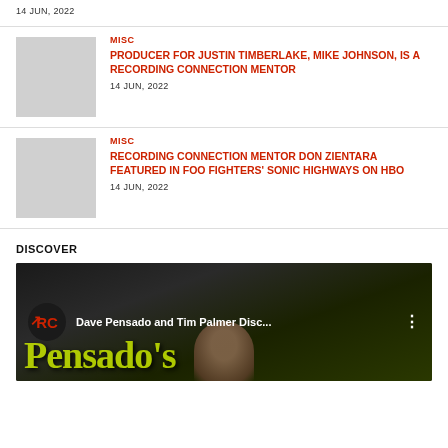14 JUN, 2022
MISC
PRODUCER FOR JUSTIN TIMBERLAKE, MIKE JOHNSON, IS A RECORDING CONNECTION MENTOR
14 JUN, 2022
MISC
RECORDING CONNECTION MENTOR DON ZIENTARA FEATURED IN FOO FIGHTERS' SONIC HIGHWAYS ON HBO
14 JUN, 2022
DISCOVER
[Figure (screenshot): Video thumbnail showing 'Dave Pensado and Tim Palmer Disc...' with RC logo and Pensado's Place background]